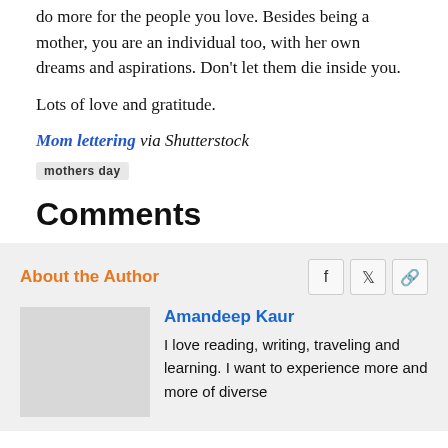do more for the people you love. Besides being a mother, you are an individual too, with her own dreams and aspirations. Don't let them die inside you.
Lots of love and gratitude.
Mom lettering via Shutterstock
mothers day
Comments
About the Author
Amandeep Kaur
I love reading, writing, traveling and learning. I want to experience more and more of diverse